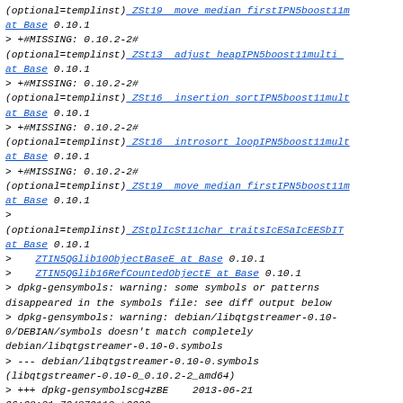(optional=templinst) ZSt19 move median firstIPN5boost11m at Base 0.10.1
> +#MISSING: 0.10.2-2#
(optional=templinst) ZSt13 adjust heapIPN5boost11multi at Base 0.10.1
> +#MISSING: 0.10.2-2#
(optional=templinst) ZSt16 insertion sortIPN5boost11mult at Base 0.10.1
> +#MISSING: 0.10.2-2#
(optional=templinst) ZSt16 introsort loopIPN5boost11mult at Base 0.10.1
> +#MISSING: 0.10.2-2#
(optional=templinst) ZSt19 move median firstIPN5boost11m at Base 0.10.1
>
(optional=templinst) ZStplIcSt11char traitsIcESaIcEESbIT at Base 0.10.1
>    ZTIN5QGlib10ObjectBaseE at Base 0.10.1
>    ZTIN5QGlib16RefCountedObjectE at Base 0.10.1
> dpkg-gensymbols: warning: some symbols or patterns disappeared in the symbols file: see diff output below
> dpkg-gensymbols: warning: debian/libqtgstreamer-0.10-0/DEBIAN/symbols doesn't match completely debian/libqtgstreamer-0.10-0.symbols
> --- debian/libqtgstreamer-0.10-0.symbols
(libqtgstreamer-0.10-0_0.10.2-2_amd64)
> +++ dpkg-gensymbolscg4zBE    2013-06-21 06:08:21.704879112 +0000
> @@ -908,41 +908,41 @@
>    ZTVN4OGst9SeekEventE at Base 0.10.1